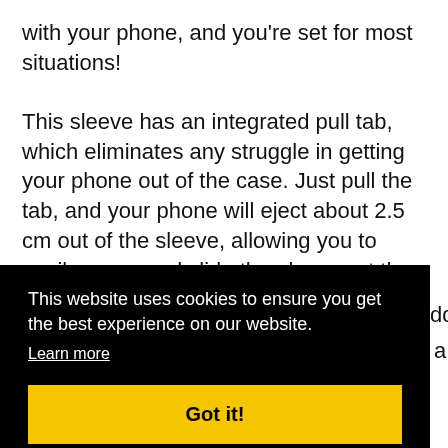with your phone, and you're set for most situations!

This sleeve has an integrated pull tab, which eliminates any struggle in getting your phone out of the case. Just pull the tab, and your phone will eject about 2.5 cm out of the sleeve, allowing you to easily grasp and slide the phone out the rest of the way. The pull tab retracts automatically and attaches
This website uses cookies to ensure you get the best experience on our website.
Learn more
Got it!